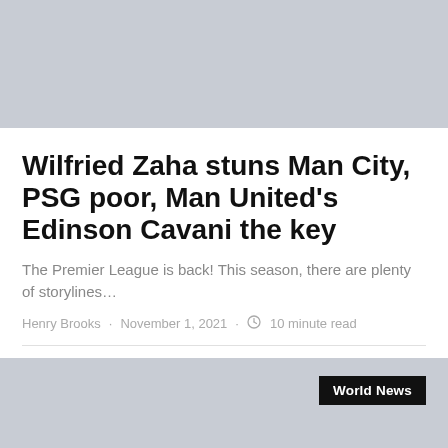[Figure (photo): Gray placeholder image at top of article]
Wilfried Zaha stuns Man City, PSG poor, Man United's Edinson Cavani the key
The Premier League is back! This season, there are plenty of storylines…
Henry Brooks · November 1, 2021 · 10 minute read
[Figure (photo): Gray placeholder image at bottom with World News badge]